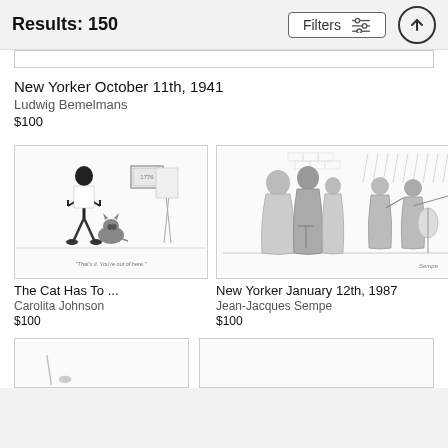Results: 150
New Yorker October 11th, 1941
Ludwig Bemelmans
$100
[Figure (illustration): Black and white cartoon illustration of a person standing next to a cat, with a picture on the wall. Caption text at bottom reads 'That's it. You're out of here.']
The Cat Has To ...
Carolita Johnson
$100
[Figure (illustration): Black and white cartoon illustration showing robed figures in the rain, with musicians playing instruments.]
New Yorker January 12th, 1987
Jean-Jacques Sempe
$100
[Figure (illustration): Partially visible black and white cartoon illustration at the bottom left.]
[Figure (illustration): Partially visible card/illustration at the bottom right.]